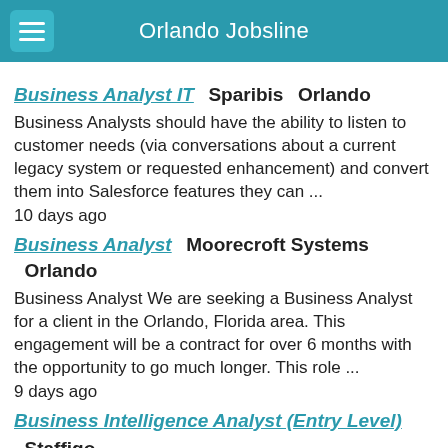Orlando Jobsline
Business Analyst IT   Sparibis   Orlando
Business Analysts should have the ability to listen to customer needs (via conversations about a current legacy system or requested enhancement) and convert them into Salesforce features they can ...
10 days ago
Business Analyst   Moorecroft Systems   Orlando
Business Analyst We are seeking a Business Analyst for a client in the Orlando, Florida area. This engagement will be a contract for over 6 months with the opportunity to go much longer. This role ...
9 days ago
Business Intelligence Analyst (Entry Level)   Staffigo Technical Services, LLC   Orlando
Staffigo is in the business of providing IT Consulting Services to